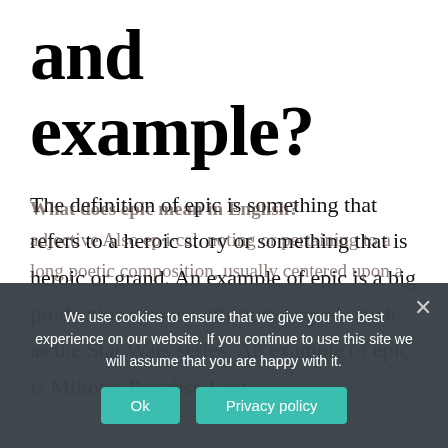and example?
The definition of epic is something that refers to a heroic story or something that is heroic or grand. An example of epic is a big production movie with story sequels such as the Star Wars series. An example of epic is Milton's Paradise Lost.
What does epic mean in English?
adjective Also ep·i·cal. noting or pertaining to a long poetic composition, usually centered upon a
We use cookies to ensure that we give you the best experience on our website. If you continue to use this site we will assume that you are happy with it.